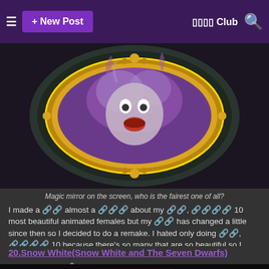≡  + New Post   ▣▣▣▣ Club  🔍
[Figure (photo): Screenshot from Snow White and the Seven Dwarfs showing the Magic Mirror — an oval ornate golden-framed mirror with a ghostly face inside, surrounded by purple smoke, set in a dark decorative frame.]
Magic mirror on the screen, who is the fairest one of all?
I made a 🔗 almost a 🔗🔗 about my 🔗, 🔗🔗🔗🔗 10 most beautiful animated females but my 🔗 has changed a little since then so I decided to do a remake. I hated only doing 🔗, 🔗🔗🔗🔗 10 because there's so many that are so beautiful so I decided to make it the 🔗, 🔗🔗🔗🔗 20. Please leave a 🔗 telling me what 🔗 think of it but keep in mind it's just my opinion, enjoy.
20.Snow White(Snow White and The Seven Dwarfs)
[Figure (photo): Partial view of Snow White character, showing dark hair and red/yellow costume colors at the bottom of the page.]